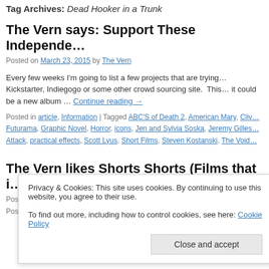Tag Archives: Dead Hooker in a Trunk
The Vern says: Support These Independe…
Posted on March 23, 2015 by The Vern
Every few weeks I'm going to list a few projects that are trying… Kickstarter, Indiegogo or some other crowd sourcing site. This… it could be a new album … Continue reading →
Posted in article, Information | Tagged ABC'S of Death 2, American Mary, Cliv… Futurama, Graphic Novel, Horror, icons, Jen and Sylvia Soska, Jeremy Gilles… Attack, practical effects, Scott Lyus, Short Films, Steven Kostanski, The Void…
The Vern likes Shorts Shorts (Films that i…
Posted on April 21, 2014 by The Vern
Privacy & Cookies: This site uses cookies. By continuing to use this website, you agree to their use. To find out more, including how to control cookies, see here: Cookie Policy
Posted in Reviews, The Vern's Shorts. | Tagged American Mary, Bad Girls, Cl…